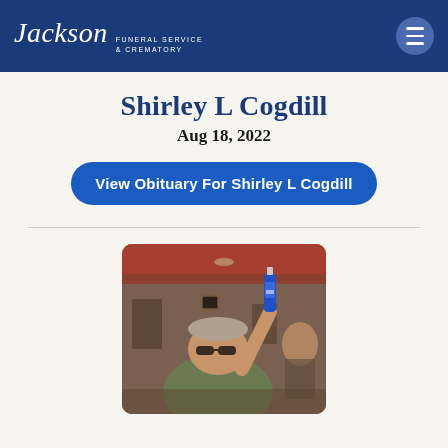Jackson Funeral Service & Crematory
Shirley L Cogdill
Aug 18, 2022
View Obituary For Shirley L Cogdill
[Figure (photo): Photo of a man wearing sunglasses and a green shirt, holding up a blue bottle with one hand raised, in an indoor setting with reddish ambient lighting]